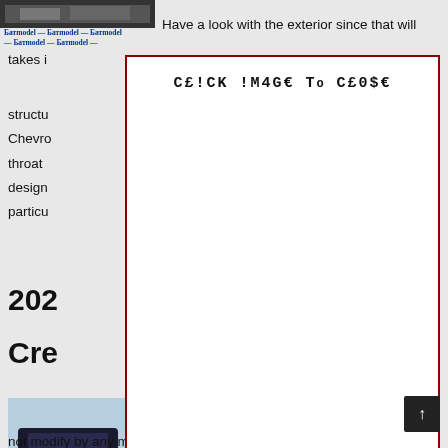[Figure (screenshot): Small car image thumbnail at top left, dark SUV]
Navigation bar with repeated site links in blue bold text
Have a look with the exterior since that will takes
[Figure (other): Modal overlay with dark red border and text 'CE!CK !M4GE To CE0$E' in monospace bold font covering center of page]
structu 2021 Chevro cut-throat n design d, the particu
202
Cre
[Figure (photo): Photo thumbnail of dark SUV on a dirt road with trees in background]
ab a large n bes
not modify by any means. Not really that it is bad - the particular